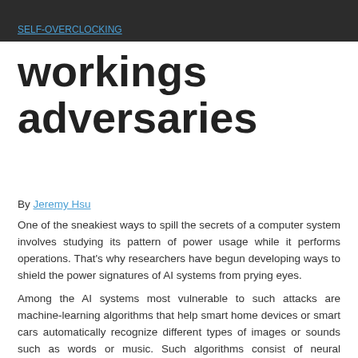SELF-OVERCLOCKING
workings to adversaries
By Jeremy Hsu
One of the sneakiest ways to spill the secrets of a computer system involves studying its pattern of power usage while it performs operations. That's why researchers have begun developing ways to shield the power signatures of AI systems from prying eyes.
Among the AI systems most vulnerable to such attacks are machine-learning algorithms that help smart home devices or smart cars automatically recognize different types of images or sounds such as words or music. Such algorithms consist of neural networks designed to run on specialized computer chips embedded directly within smart devices, instead of